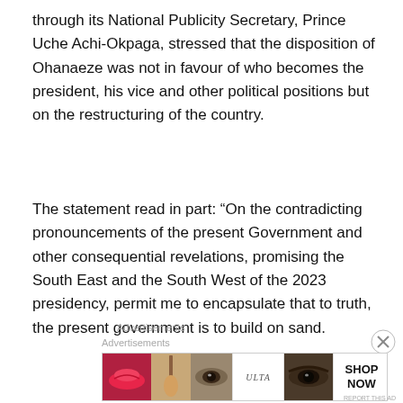through its National Publicity Secretary, Prince Uche Achi-Okpaga, stressed that the disposition of Ohanaeze was not in favour of who becomes the president, his vice and other political positions but on the restructuring of the country.
The statement read in part: “On the contradicting pronouncements of the present Government and other consequential revelations, promising the South East and the South West of the 2023 presidency, permit me to encapsulate that to truth, the present government is to build on sand.
Advertisements
Advertisements
[Figure (other): ULTA beauty advertisement banner with images of lips, makeup brush, eye, ULTA logo, eye, and SHOP NOW button]